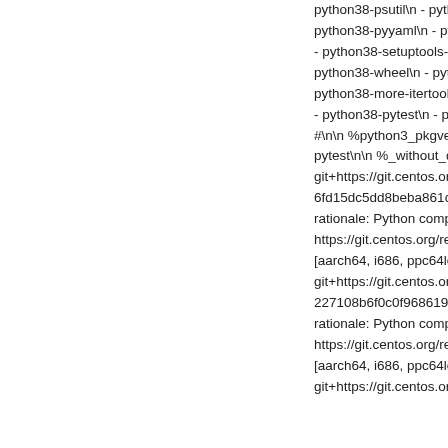python38-psutil\n - python38-psycopg2\n - python38-p python38-pyyaml\n - python38-requests\n - python38-r - python38-setuptools-wheel\n - python38-six\n - pytho python38-wheel\n - python38-wheel-wheel\n filter:\n rp python38-more-itertools\n - python38-packaging\n - py - python38-pytest\n - python38-wcwidth\n buildopts:\n #\n\n %python3_pkgversion 38\n\n %_without_python pytest\n\n %_without_docs 1\n components:\n rpms:\n git+https://git.centos.org/rpms/Cython\n cache: https:// 6fd15dc5dd8beba861c7dd2cae96c6ffdce479b1\n arch rationale: Python component\n repository: git+https://g https://git.centos.org/repo/pkgs/PyYAML\n ref: 9a5a9a [aarch64, i686, ppc64le, x86_64]\n babel:\n rationale: git+https://git.centos.org/rpms/babel\n cache: https://gi 227108b6f0c0f9686193e5c738c8ce70ff43db9e\n arch rationale: Python component\n repository: git+https://g https://git.centos.org/repo/pkgs/mod_wsgi\n ref: 8add4 [aarch64, i686, ppc64le, x86_64]\n numpy:\n rationale git+https://git.centos.org/rpms/numpy\n cache: https://